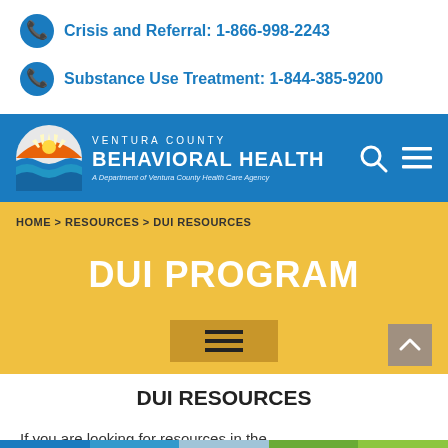Crisis and Referral: 1-866-998-2243
Substance Use Treatment: 1-844-385-9200
[Figure (logo): Ventura County Behavioral Health logo - A Department of Ventura County Health Care Agency]
HOME > RESOURCES > DUI RESOURCES
DUI PROGRAM
DUI RESOURCES
If you are looking for resources in the